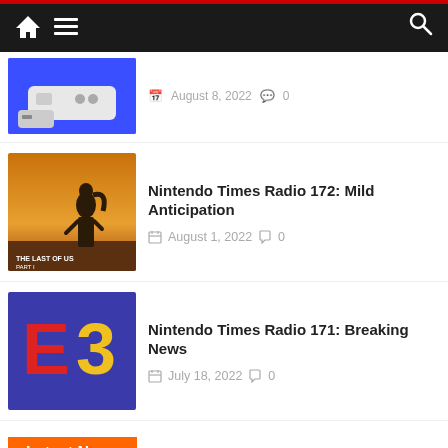Navigation bar with home, menu, and search icons
[Figure (screenshot): Partial article card with SNES console thumbnail and date August 8, 2022, 0 comments]
Nintendo Times Radio 172: Mild Anticipation
August 1, 2022  0
Nintendo Times Radio 171: Breaking News
July 18, 2022  0
Latest News
[Figure (screenshot): Partial bottom thumbnails showing a blue Nexon-style logo and green US dollar bill imagery]